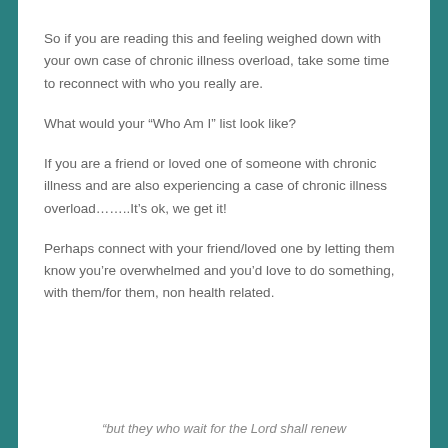So if you are reading this and feeling weighed down with your own case of chronic illness overload, take some time to reconnect with who you really are.
What would your “Who Am I” list look like?
If you are a friend or loved one of someone with chronic illness and are also experiencing a case of chronic illness overload……..It’s ok, we get it!
Perhaps connect with your friend/loved one by letting them know you’re overwhelmed and you’d love to do something, with them/for them, non health related.
“but they who wait for the Lord shall renew